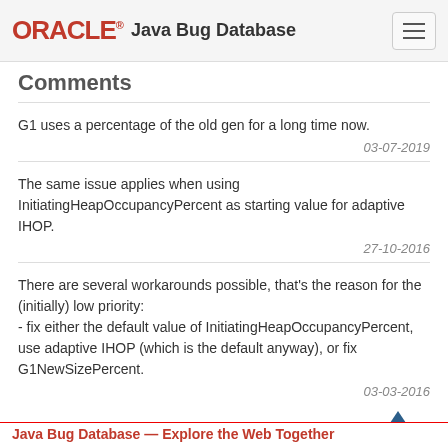ORACLE® Java Bug Database
Comments
G1 uses a percentage of the old gen for a long time now.
03-07-2019
The same issue applies when using InitiatingHeapOccupancyPercent as starting value for adaptive IHOP.
27-10-2016
There are several workarounds possible, that's the reason for the (initially) low priority:
- fix either the default value of InitiatingHeapOccupancyPercent, use adaptive IHOP (which is the default anyway), or fix G1NewSizePercent.
03-03-2016
Java Bug Database — Explore the Web Together